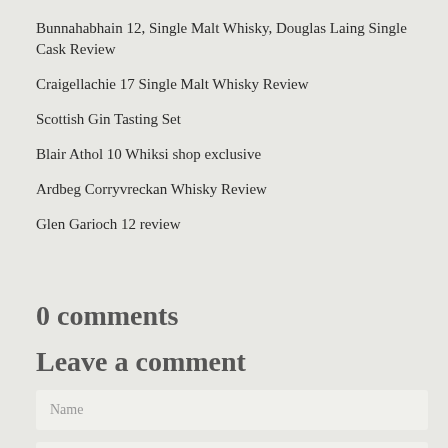Bunnahabhain 12, Single Malt Whisky, Douglas Laing Single Cask Review
Craigellachie 17 Single Malt Whisky Review
Scottish Gin Tasting Set
Blair Athol 10 Whiksi shop exclusive
Ardbeg Corryvreckan Whisky Review
Glen Garioch 12 review
0 comments
Leave a comment
Name
Email